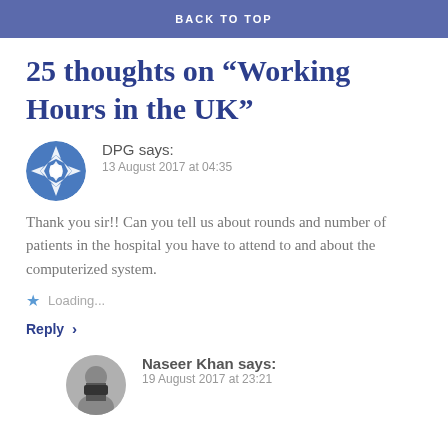BACK TO TOP
25 thoughts on “Working Hours in the UK”
DPG says:
13 August 2017 at 04:35
Thank you sir!! Can you tell us about rounds and number of patients in the hospital you have to attend to and about the computerized system.
Loading...
Reply ›
Naseer Khan says:
19 August 2017 at 23:21